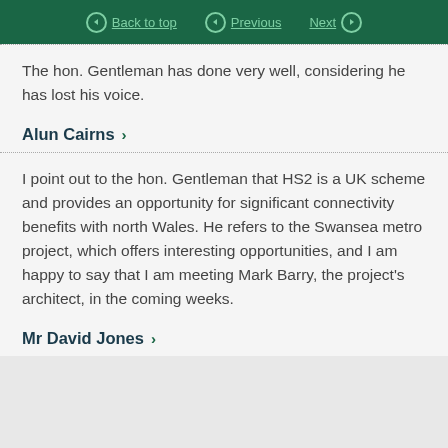Back to top | Previous | Next
The hon. Gentleman has done very well, considering he has lost his voice.
Alun Cairns
I point out to the hon. Gentleman that HS2 is a UK scheme and provides an opportunity for significant connectivity benefits with north Wales. He refers to the Swansea metro project, which offers interesting opportunities, and I am happy to say that I am meeting Mark Barry, the project's architect, in the coming weeks.
Mr David Jones